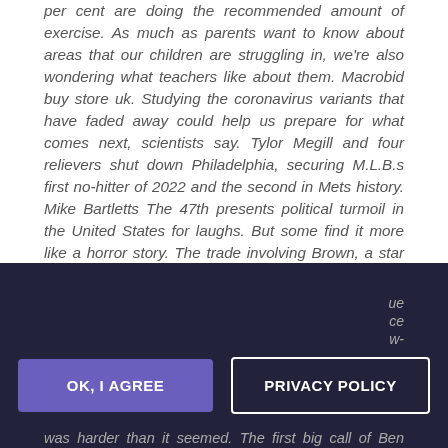per cent are doing the recommended amount of exercise. As much as parents want to know about areas that our children are struggling in, we're also wondering what teachers like about them. Macrobid buy store uk. Studying the coronavirus variants that have faded away could help us prepare for what comes next, scientists say. Tylor Megill and four relievers shut down Philadelphia, securing M.L.B.s first no-hitter of 2022 and the second in Mets history. Mike Bartletts The 47th presents political turmoil in the United States for laughs. But some find it more like a horror story. The trade involving Brown, a star receiver for Tennessee, was the surprise move of the first round. Several stars, including Daniel Craig and Sarah Jessica Parker, were not nominated for their performances, while Paradise Square became one of the seasons most-nominated shows. The tennis player claims the organization failed to disclose that her coach may have sexually assaulted one of its ... ce w- It was harder than it seemed. The first big call of Ben Stokes' captaincy has shone the spotlight on what is again likely to
[Figure (other): Cookie consent overlay with two buttons: 'OK, I AGREE' (purple button) and 'PRIVACY POLICY' (outlined button), displayed over a dark navy background.]